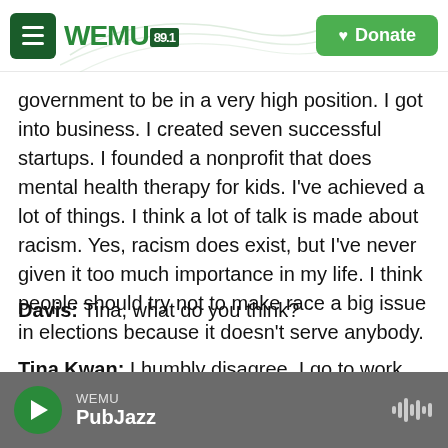WEMU 89.1 | Donate
government to be in a very high position. I got into business. I created seven successful startups. I founded a nonprofit that does mental health therapy for kids. I've achieved a lot of things. I think a lot of talk is made about racism. Yes, racism does exist, but I've never given it too much importance in my life. I think people should try not to make race a big issue in elections because it doesn't serve anybody.
Davis: Tina, what do you think?
Tina Kwan: I humbly disagree. I go to work every
WEMU PubJazz